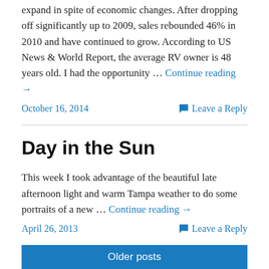expand in spite of economic changes. After dropping off significantly up to 2009, sales rebounded 46% in 2010 and have continued to grow. According to US News & World Report, the average RV owner is 48 years old. I had the opportunity … Continue reading →
October 16, 2014
Leave a Reply
Day in the Sun
This week I took advantage of the beautiful late afternoon light and warm Tampa weather to do some portraits of a new … Continue reading →
April 26, 2013
Leave a Reply
Older posts